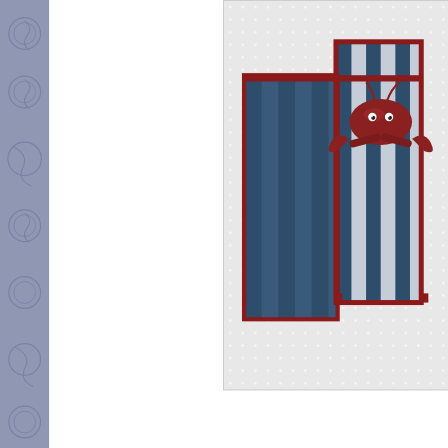[Figure (photo): Craft box decorated with navy blue and white stripes and red trim, featuring a red crab figure on top, photographed against a white polka-dot background.]
I wanted to make something different from th... tags that we've all seen before. So I designe... pa...
[Figure (photo): Close-up of the bottom portion of a decorated craft box with red trim and navy blue/white stripes.]